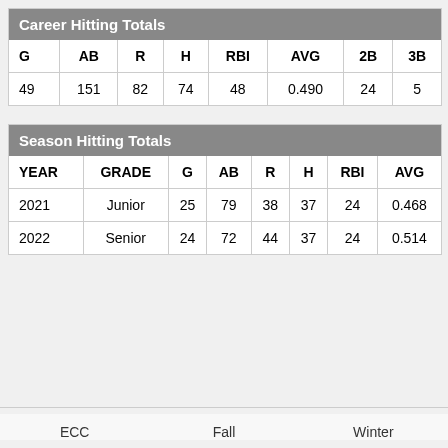| G | AB | R | H | RBI | AVG | 2B | 3B |
| --- | --- | --- | --- | --- | --- | --- | --- |
| 49 | 151 | 82 | 74 | 48 | 0.490 | 24 | 5 |
| YEAR | GRADE | G | AB | R | H | RBI | AVG |
| --- | --- | --- | --- | --- | --- | --- | --- |
| 2021 | Junior | 25 | 79 | 38 | 37 | 24 | 0.468 |
| 2022 | Senior | 24 | 72 | 44 | 37 | 24 | 0.514 |
ECC    Fall    Winter